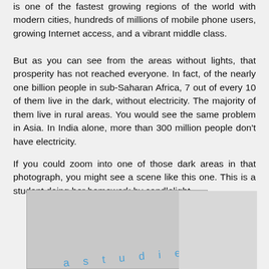is one of the fastest growing regions of the world with modern cities, hundreds of millions of mobile phone users, growing Internet access, and a vibrant middle class.
But as you can see from the areas without lights, that prosperity has not reached everyone. In fact, of the nearly one billion people in sub-Saharan Africa, 7 out of every 10 of them live in the dark, without electricity. The majority of them live in rural areas. You would see the same problem in Asia. In India alone, more than 300 million people don't have electricity.
If you could zoom into one of those dark areas in that photograph, you might see a scene like this one. This is a student doing her homework by candlelight.
[Figure (photo): A partially visible photo of a student doing homework by candlelight, with a handwritten cursive scrawl visible at the bottom. The image is partially cut off at the bottom of the page.]